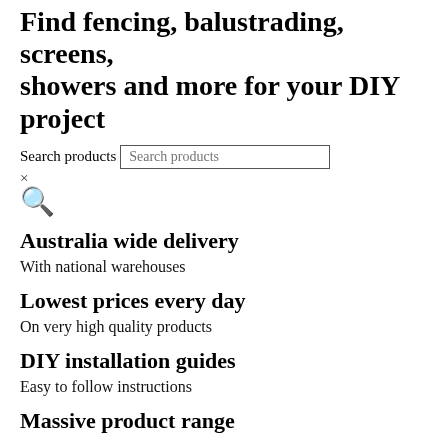Find fencing, balustrading, screens, showers and more for your DIY project
Search products [search input]
Australia wide delivery
With national warehouses
Lowest prices every day
On very high quality products
DIY installation guides
Easy to follow instructions
Massive product range